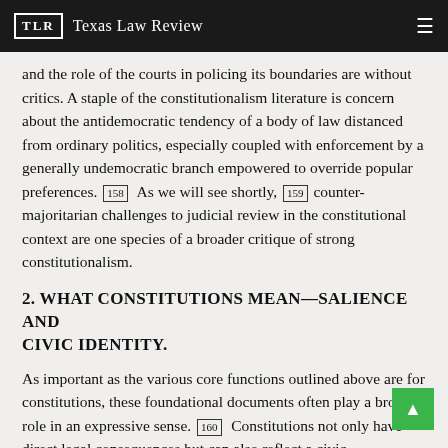TLR  Texas Law Review
and the role of the courts in policing its boundaries are without critics. A staple of the constitutionalism literature is concern about the antidemocratic tendency of a body of law distanced from ordinary politics, especially coupled with enforcement by a generally undemocratic branch empowered to override popular preferences. [158]  As we will see shortly, [159]  counter-majoritarian challenges to judicial review in the constitutional context are one species of a broader critique of strong constitutionalism.
2. WHAT CONSTITUTIONS MEAN—SALIENCE AND CIVIC IDENTITY.
As important as the various core functions outlined above are for constitutions, these foundational documents often play a broader role in an expressive sense. [160]  Constitutions not only have direct legal consequences but can also reflect a civic community's deep identity. [161]  As such, constitutions have the